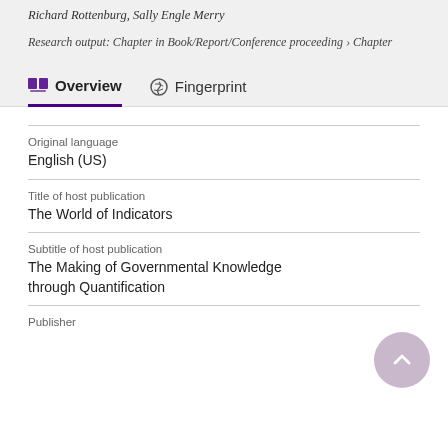Richard Rottenburg, Sally Engle Merry
Research output: Chapter in Book/Report/Conference proceeding › Chapter
Overview
Fingerprint
| Field | Value |
| --- | --- |
| Original language | English (US) |
| Title of host publication | The World of Indicators |
| Subtitle of host publication | The Making of Governmental Knowledge through Quantification |
| Publisher |  |